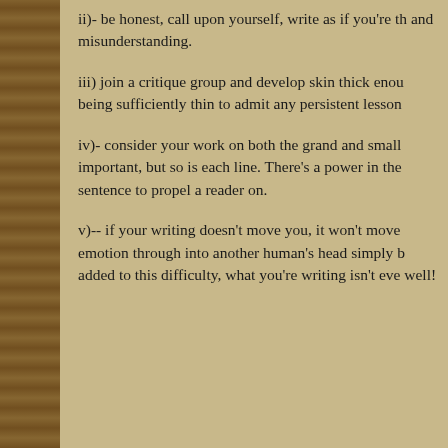ii)- be honest, call upon yourself, write as if you're th and misunderstanding.
iii) join a critique group and develop skin thick enou being sufficiently thin to admit any persistent lesson
iv)- consider your work on both the grand and small important, but so is each line. There's a power in the sentence to propel a reader on.
v)-- if your writing doesn't move you, it won't move emotion through into another human's head simply b added to this difficulty, what you're writing isn't eve well!